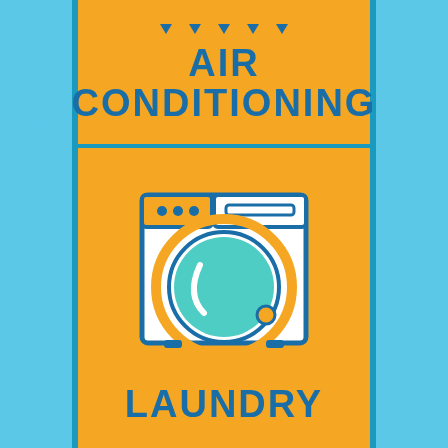[Figure (infographic): Infographic panel showing air conditioning icon (downward arrows) with text AIR CONDITIONING, and a washing machine icon with text LAUNDRY, on an orange background with blue border accents]
AIR CONDITIONING
LAUNDRY